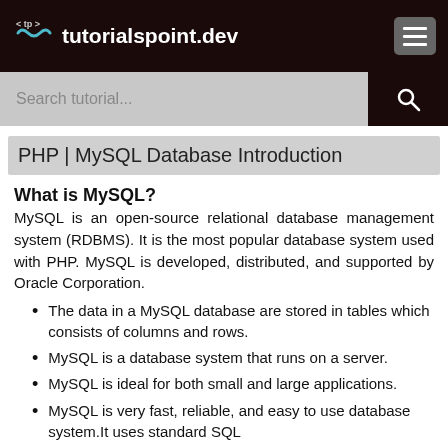tutorialspoint.dev
PHP | MySQL Database Introduction
What is MySQL?
MySQL is an open-source relational database management system (RDBMS). It is the most popular database system used with PHP. MySQL is developed, distributed, and supported by Oracle Corporation.
The data in a MySQL database are stored in tables which consists of columns and rows.
MySQL is a database system that runs on a server.
MySQL is ideal for both small and large applications.
MySQL is very fast, reliable, and easy to use database system.It uses standard SQL
MySQL compiles on a number of platforms.
Downloading MySQL Database